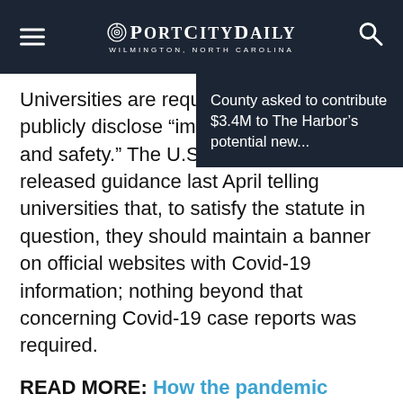PORT CITY DAILY — WILMINGTON, NORTH CAROLINA
Universities are required to publicly disclose "imm... and safety." The U.S. D... released guidance last April telling universities that, to satisfy the statute in question, they should maintain a banner on official websites with Covid-19 information; nothing beyond that concerning Covid-19 case reports was required.
County asked to contribute $3.4M to The Harbor's potential new...
READ MORE: How the pandemic caused a university-focused crime reporting law to take on new meaning